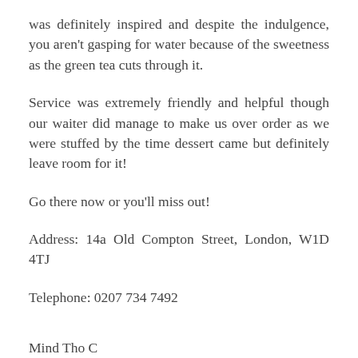was definitely inspired and despite the indulgence, you aren't gasping for water because of the sweetness as the green tea cuts through it.
Service was extremely friendly and helpful though our waiter did manage to make us over order as we were stuffed by the time dessert came but definitely leave room for it!
Go there now or you'll miss out!
Address: 14a Old Compton Street, London, W1D 4TJ
Telephone: 0207 734 7492
Mind Tho C...